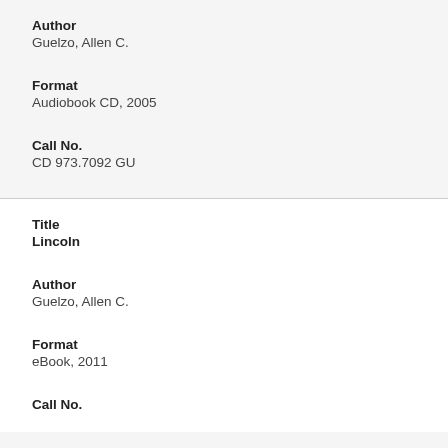Author
Guelzo, Allen C.
Format
Audiobook CD, 2005
Call No.
CD 973.7092 GU
Title
Lincoln
Author
Guelzo, Allen C.
Format
eBook, 2011
Call No.